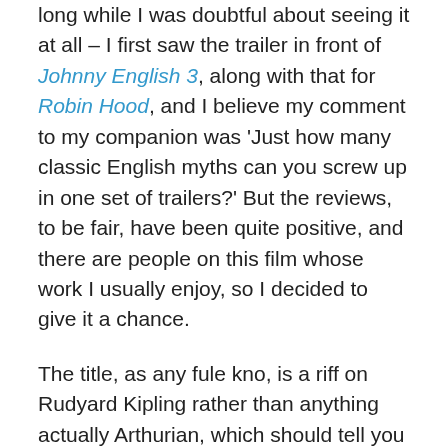long while I was doubtful about seeing it at all – I first saw the trailer in front of Johnny English 3, along with that for Robin Hood, and I believe my comment to my companion was 'Just how many classic English myths can you screw up in one set of trailers?' But the reviews, to be fair, have been quite positive, and there are people on this film whose work I usually enjoy, so I decided to give it a chance.
The title, as any fule kno, is a riff on Rudyard Kipling rather than anything actually Arthurian, which should tell you everything you need to know about the script's cafeteria-style approach to this particular myth cycle. A rather nicely animated opening sequence fills in the back-story for today's under-educated youngsters, although it does the usual thing of conflating the Sword in the Stone with